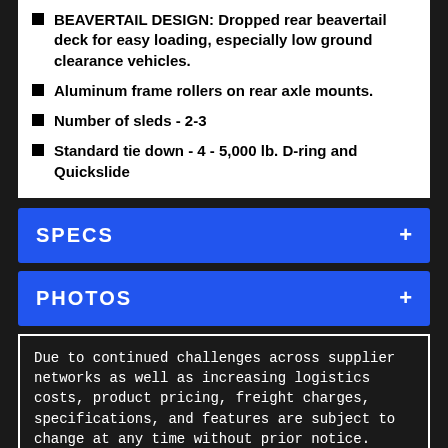BEAVERTAIL DESIGN: Dropped rear beavertail deck for easy loading, especially low ground clearance vehicles.
Aluminum frame rollers on rear axle mounts.
Number of sleds - 2-3
Standard tie down - 4 - 5,000 lb. D-ring and Quickslide
SPECS
PHOTOS
Due to continued challenges across supplier networks as well as increasing logistics costs, product pricing, freight charges, specifications, and features are subject to change at any time without prior notice. Please confirm all information with your local dealership.